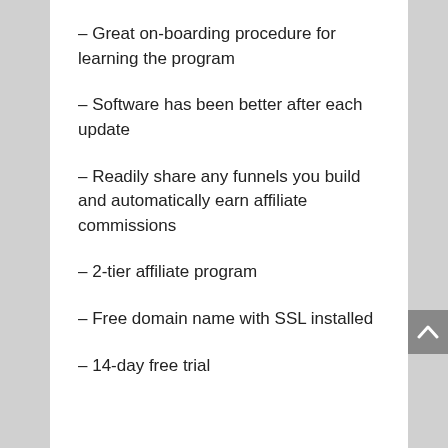– Great on-boarding procedure for learning the program
– Software has been better after each update
– Readily share any funnels you build and automatically earn affiliate commissions
– 2-tier affiliate program
– Free domain name with SSL installed
– 14-day free trial